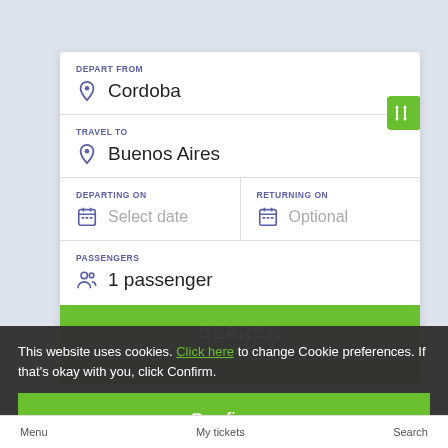DEPART FROM
Cordoba
TRAVEL TO
Buenos Aires
DEPARTING ON
Select date
RETURNING ON
Optional
PASSENGERS
1 passenger
SEARCH
This website uses cookies. Click here to change Cookie preferences. If that's okay with you, click Confirm.
Confirm
Menu
My tickets
Search